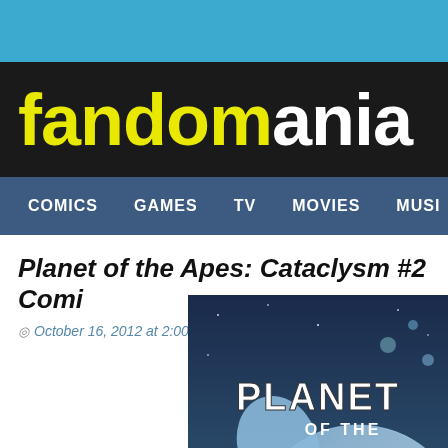fandomania
COMICS  GAMES  TV  MOVIES  MUSI
Planet of the Apes: Cataclysm #2 Comi
October 16, 2012 at 2:00 pm   Lamar Furbanks
[Figure (photo): Planet of the Apes: Cataclysm comic book cover showing PLANET OF THE APES CATACLYSM text over a dramatic space/ice scene]